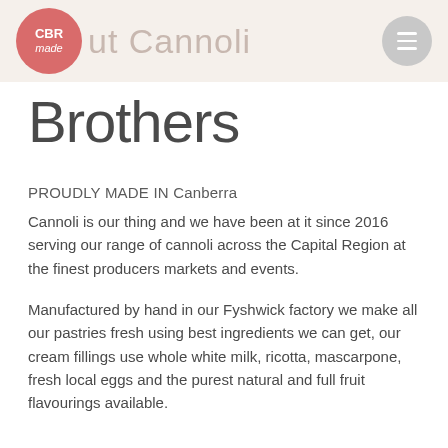About Cannoli Brothers
Brothers
PROUDLY MADE IN Canberra
Cannoli is our thing and we have been at it since 2016 serving our range of cannoli across the Capital Region at the finest producers markets and events.
Manufactured by hand in our Fyshwick factory we make all our pastries fresh using best ingredients we can get, our cream fillings use whole white milk, ricotta, mascarpone, fresh local eggs and the purest natural and full fruit flavourings available.
We have Vegetarian, Vegan, Dairy Free and Gluten